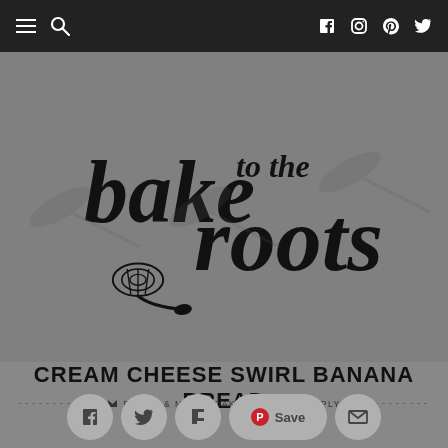Navigation bar with menu, search, Facebook, Instagram, Pinterest, Twitter icons
[Figure (logo): Bake to the Roots logo with stylized handwritten text and whisk illustration]
CREAM CHEESE SWIRL BANANA BREAD
BREAD & MORE, CAKES   NO REPLY
[Figure (infographic): Social sharing buttons row: Facebook, Twitter, Flipboard, Pinterest Save, Email]